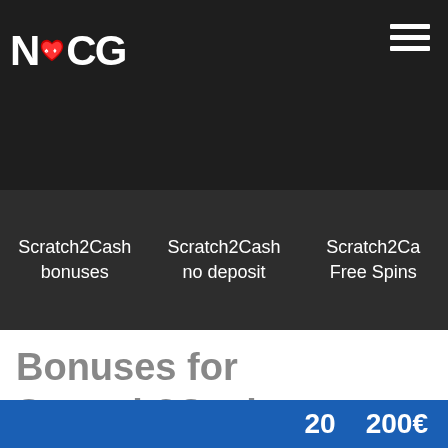[Figure (logo): NCG logo with heart icon between N and C, white text on dark background]
[Figure (other): Hamburger menu icon (three horizontal lines) in top right corner]
Scratch2Cash bonuses
Scratch2Cash no deposit
Scratch2Cash Free Spins
Bonuses for Scratch2Cash
20   200€